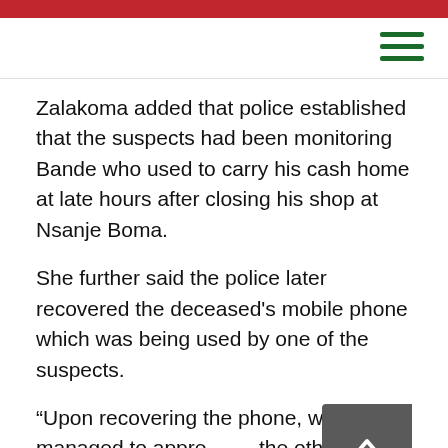Zalakoma added that police established that the suspects had been monitoring Bande who used to carry his cash home at late hours after closing his shop at Nsanje Boma.
She further said the police later recovered the deceased's mobile phone which was being used by one of the suspects.
“Upon recovering the phone, we managed to apprehend the other three suspects.
“The person who was using the phone said he knew the people who murdered the deceased and that they gave him the phone and cash so that he should not reveal what happened,” Zalakoma said.